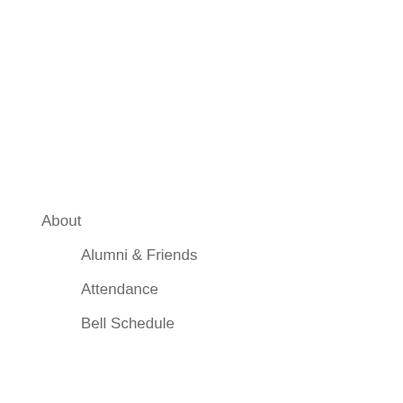About
Alumni & Friends
Attendance
Bell Schedule